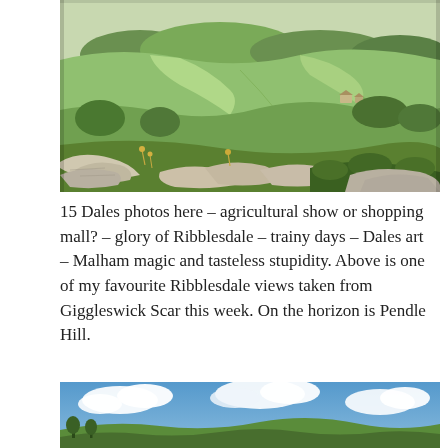[Figure (photo): Aerial landscape photo taken from Giggleswick Scar showing green rolling hills and fields of Ribblesdale, with limestone rocks in the foreground and Pendle Hill on the horizon.]
15 Dales photos here – agricultural show or shopping mall? – glory of Ribblesdale – trainy days – Dales art – Malham magic and tasteless stupidity. Above is one of my favourite Ribblesdale views taken from Giggleswick Scar this week. On the horizon is Pendle Hill.
[Figure (photo): Partial landscape photo showing blue sky with white clouds above green hills.]